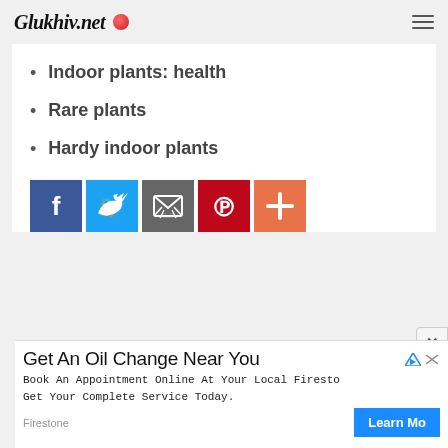Glukhiv.net
Indoor plants: health
Rare plants
Hardy indoor plants
[Figure (infographic): Social share buttons: Facebook (blue), Twitter (light blue), Email (gray), Pinterest (red), More/Plus (orange-red)]
Get An Oil Change Near You
Book An Appointment Online At Your Local Firesto Get Your Complete Service Today.
Firestone  Learn Mo